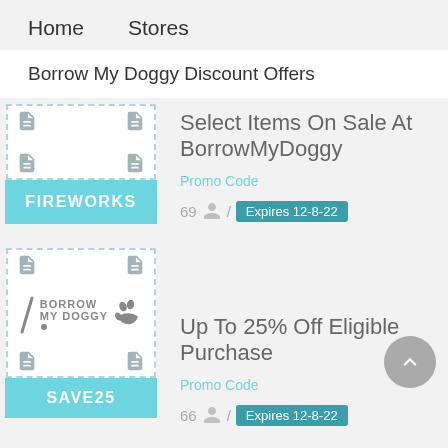Home   Stores
Borrow My Doggy Discount Offers
Select Items On Sale At BorrowMyDoggy
Promo Code
69 / Expires 12-8-22
FIREWORKS
Up To 25% Off Eligible Purchase
Promo Code
66 / Expires 12-8-22
SAVE25